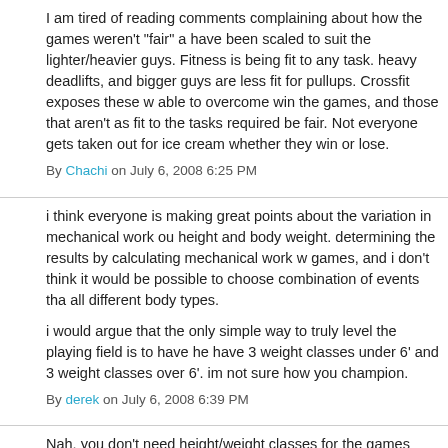I am tired of reading comments complaining about how the games weren't "fair" a have been scaled to suit the lighter/heavier guys. Fitness is being fit to any task. heavy deadlifts, and bigger guys are less fit for pullups. Crossfit exposes these w able to overcome win the games, and those that aren't as fit to the tasks required be fair. Not everyone gets taken out for ice cream whether they win or lose.
By Chachi on July 6, 2008 6:25 PM
i think everyone is making great points about the variation in mechanical work ou height and body weight. determining the results by calculating mechanical work w games, and i don't think it would be possible to choose combination of events tha all different body types.
i would argue that the only simple way to truly level the playing field is to have he have 3 weight classes under 6' and 3 weight classes over 6'. im not sure how you champion.
By derek on July 6, 2008 6:39 PM
Nah, you don't need height/weight classes for the games because it's all about be all that was needed is a little bit of balance towards endurance/cardio fitness. The pure strength in these games.
It's all for fun anyway, so it doesn't really matter how they run the games as long Still, if I had to pick the ideal athlete for the women, it would be a larger, more mu opposed to a lighter, leaner build on a smaller frame. For the men, it would be a 6 and fast wouldn't be ideal.
By RJM on July 6, 2008 6:46 PM